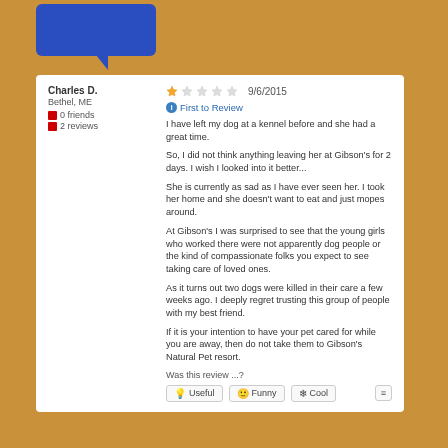[Figure (illustration): Blue speech bubble / chat icon at top of page]
Charles D.
Bethel, ME
0 friends
2 reviews
9/6/2015
First to Review
I have left my dog at a kennel before and she had a great time.

So, I did not think anything leaving her at Gibson's for 2 days. I wish I looked into it better...

She is currently as sad as I have ever seen her. I took her home and she doesn't want to eat and just mopes around.

At Gibson's I was surprised to see that the young girls who worked there were not apparently dog people or the kind of compassionate folks you expect to see taking care of loved ones.

As it turns out two dogs were killed in their care a few weeks ago. I deeply regret trusting this group of people with my best friend.

If it is your intention to have your pet cared for while you are away, then do not take them to Gibson's Natural Pet resort.

Was this review ...?
Useful  Funny  Cool